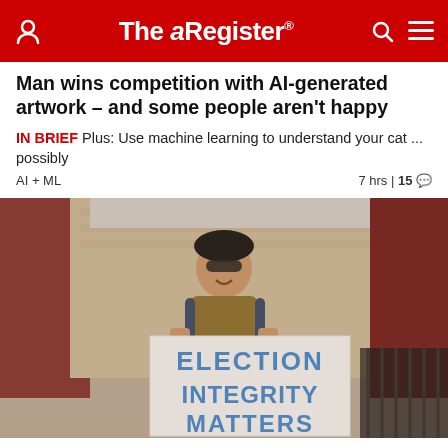The Register
Man wins competition with AI-generated artwork – and some people aren't happy
IN BRIEF Plus: Use machine learning to understand your cat ... possibly
AI + ML   7 hrs | 15 comments
[Figure (photo): Person holding a sign reading ELECTION INTEGRITY MATTERS in front of a brick building]
Google, YouTube ban election trolls ahead of US...